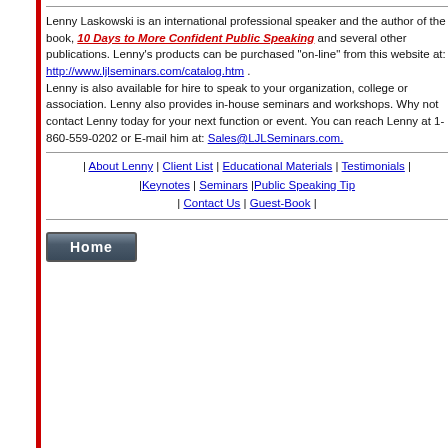Lenny Laskowski is an international professional speaker and the author of the book, 10 Days to More Confident Public Speaking and several other publications. Lenny's products can be purchased "on-line" from this website at: http://www.ljlseminars.com/catalog.htm . Lenny is also available for hire to speak to your organization, college or association. Lenny also provides in-house seminars and workshops. Why not contact Lenny today for your next function or event. You can reach Lenny at 1-860-559-0202 or E-mail him at: Sales@LJLSeminars.com.
| About Lenny | Client List | Educational Materials | Testimonials | |Keynotes | Seminars |Public Speaking Tips | Contact Us | Guest-Book |
[Figure (other): Home button - a rectangular button with dark blue-grey gradient background and white bold text reading 'Home']